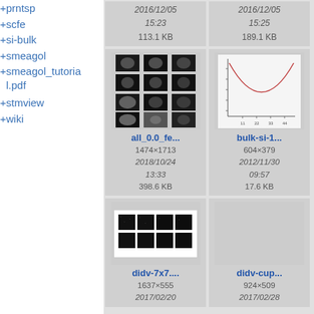+ prntsp
+ scfe
+ si-bulk
+ smeagol
+ smeagol_tutorial.pdf
+ stmview
+ wiki
[Figure (other): Top partial card 1: date 2016/12/05 15:23, size 113.1 KB]
[Figure (other): Top partial card 2: date 2016/12/05 15:25, size 189.1 KB]
[Figure (screenshot): Thumbnail grid of molecular orbital images (4x3 grid), filename all_0.0_fe..., 1474x1713, 2018/10/24 13:33, 398.6 KB]
[Figure (continuous-plot): Thumbnail of bulk-si-1... plot showing a U-shaped curve, 604x379, 2012/11/30 09:57, 17.6 KB]
[Figure (screenshot): Thumbnail of didv-7x7... showing 2x4 grid of dark rectangular panels, 1637x555, 2017/02/20]
[Figure (other): Thumbnail of didv-cup..., 924x509, 2017/02/28]